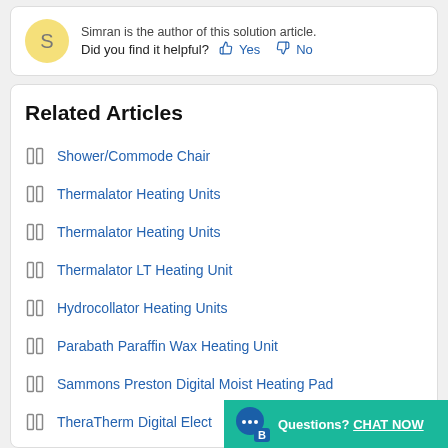Simran is the author of this solution article. Did you find it helpful? Yes No
Related Articles
Shower/Commode Chair
Thermalator Heating Units
Thermalator Heating Units
Thermalator LT Heating Unit
Hydrocollator Heating Units
Parabath Paraffin Wax Heating Unit
Sammons Preston Digital Moist Heating Pad
TheraTherm Digital Elect...
[Figure (other): Chat widget: Questions? CHAT NOW button with chat bubble icon on green background]